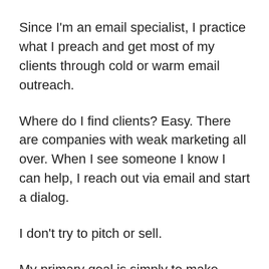Since I'm an email specialist, I practice what I preach and get most of my clients through cold or warm email outreach.
Where do I find clients? Easy. There are companies with weak marketing all over. When I see someone I know I can help, I reach out via email and start a dialog.
I don't try to pitch or sell.
My primary goal is simply to make contact, learn more about your business, and then together we